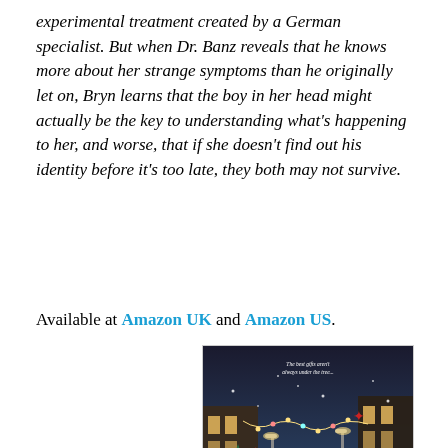experimental treatment created by a German specialist. But when Dr. Banz reveals that he knows more about her strange symptoms than he originally let on, Bryn learns that the boy in her head might actually be the key to understanding what's happening to her, and worse, that if she doesn't find out his identity before it's too late, they both may not survive.
Available at Amazon UK and Amazon US.
[Figure (illustration): Book cover for 'All I Want For Christmas' by Amy Silver. Shows a snowy street scene with Christmas lights and trees, a woman in a red coat. Title text in gold/white reads 'All I Want For Christmas' with red star decorations. Author name 'AMY SILVER' at bottom.]